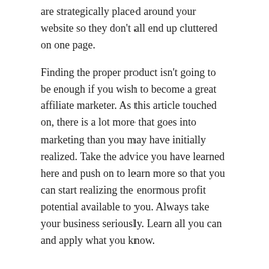are strategically placed around your website so they don't all end up cluttered on one page.
Finding the proper product isn't going to be enough if you wish to become a great affiliate marketer. As this article touched on, there is a lot more that goes into marketing than you may have initially realized. Take the advice you have learned here and push on to learn more so that you can start realizing the enormous profit potential available to you. Always take your business seriously. Learn all you can and apply what you know.
SEPTEMBER 3, 2018
Key Online Marketing Techniques For Your Benefit
Web marketing may appear very complicated and